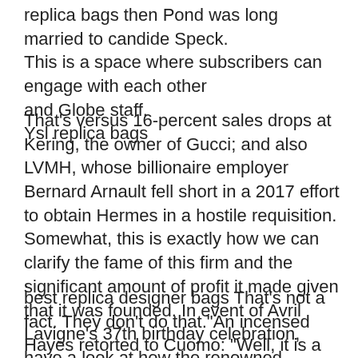replica bags then Pond was long married to candide Speck. This is a space where subscribers can engage with each other and Globe staff.
Ysl replica bags
That's versus 16-percent sales drops at Kering, the owner of Gucci; and also LVMH, whose billionaire employer Bernard Arnault fell short in a 2017 effort to obtain Hermes in a hostile requisition. Somewhat, this is exactly how we can clarify the fame of this firm and the significant amount of profit it made given that it was founded. In event of Avril Lavigne's 37th birthday celebration, have a look at how the renowned singer's unrivaled fashion options have actually led the way for the present pop-punk resurgence.
.
best replica designer bags That's not a fact. They don't do that."An incensed Hayes retorted to Cuomo: "Well, it is a fact. It is very much a fact."He would then go on to show more footage of police roughing up protesters before sounding one